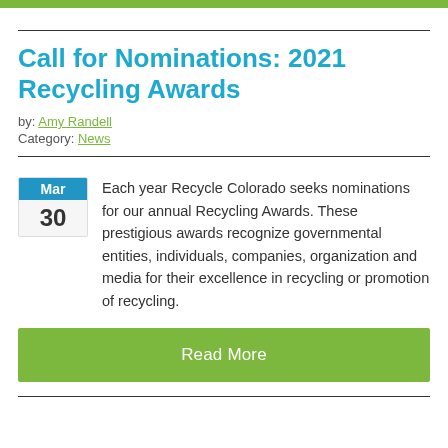Call for Nominations: 2021 Recycling Awards
by: Amy Randell
Category: News
Each year Recycle Colorado seeks nominations for our annual Recycling Awards. These prestigious awards recognize governmental entities, individuals, companies, organization and media for their excellence in recycling or promotion of recycling.
Read More